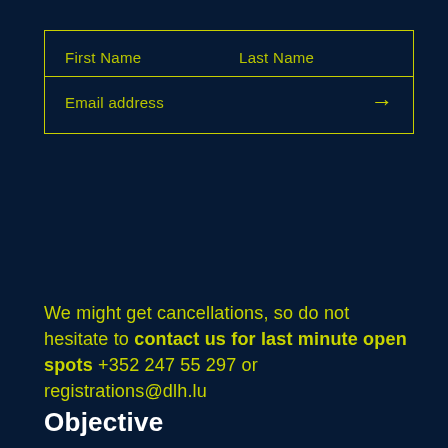[Figure (other): Registration form with First Name, Last Name, Email address fields and arrow submit button, styled with yellow border on dark navy background]
We might get cancellations, so do not hesitate to contact us for last minute open spots +352 247 55 297 or registrations@dlh.lu
Objective